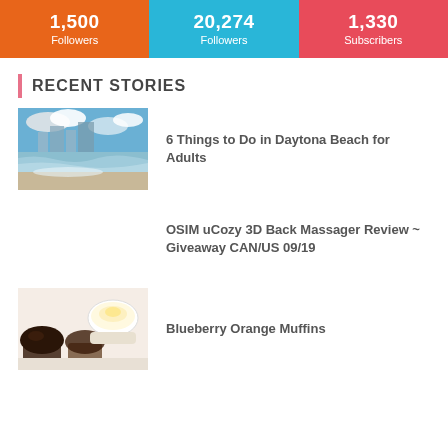[Figure (infographic): Three colored stat blocks: 1,500 Followers (orange), 20,274 Followers (blue), 1,330 Subscribers (red)]
RECENT STORIES
[Figure (photo): Beach scene with ocean waves and buildings in background - Daytona Beach]
6 Things to Do in Daytona Beach for Adults
OSIM uCozy 3D Back Massager Review ~ Giveaway CAN/US 09/19
[Figure (photo): Blueberry orange muffins on a white surface with a bowl of cream]
Blueberry Orange Muffins